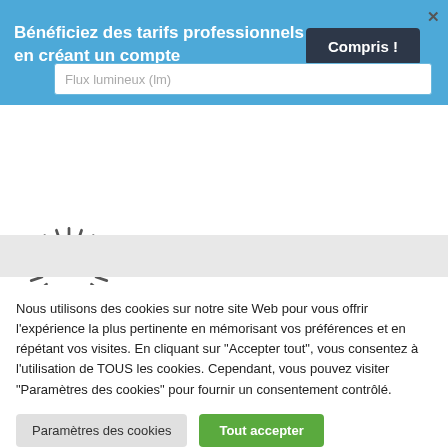Bénéficiez des tarifs professionnels en créant un compte
Compris !
Flux lumineux (lm)
[Figure (logo): SelecLED logo with sunburst graphic]
Nous utilisons des cookies sur notre site Web pour vous offrir l'expérience la plus pertinente en mémorisant vos préférences et en répétant vos visites. En cliquant sur "Accepter tout", vous consentez à l'utilisation de TOUS les cookies. Cependant, vous pouvez visiter "Paramètres des cookies" pour fournir un consentement contrôlé.
Paramètres des cookies
Tout accepter